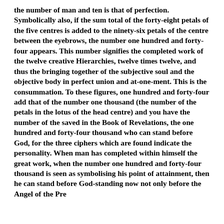the number of man and ten is that of perfection. Symbolically also, if the sum total of the forty-eight petals of the five centres is added to the ninety-six petals of the centre between the eyebrows, the number one hundred and forty-four appears. This number signifies the completed work of the twelve creative Hierarchies, twelve times twelve, and thus the bringing together of the subjective soul and the objective body in perfect union and at-one-ment. This is the consummation. To these figures, one hundred and forty-four add that of the number one thousand (the number of the petals in the lotus of the head centre) and you have the number of the saved in the Book of Revelations, the one hundred and forty-four thousand who can stand before God, for the three ciphers which are found indicate the personality. When man has completed within himself the great work, when the number one hundred and forty-four thousand is seen as symbolising his point of attainment, then he can stand before God-standing now not only before the Angel of the Presence, but before the very Presence